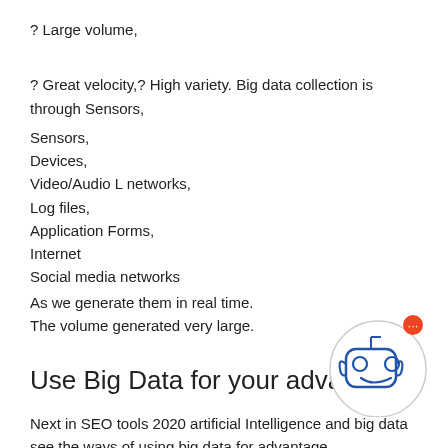? Large volume,
? Great velocity,? High variety. Big data collection is through Sensors,
Sensors,
Devices,
Video/Audio L networks,
Log files,
Application Forms,
Internet
Social media networks
As we generate them in real time.
The volume generated very large.
Use Big Data for your advantage
Next in SEO tools 2020 artificial Intelligence and big data see the ways of using big data for advantage.